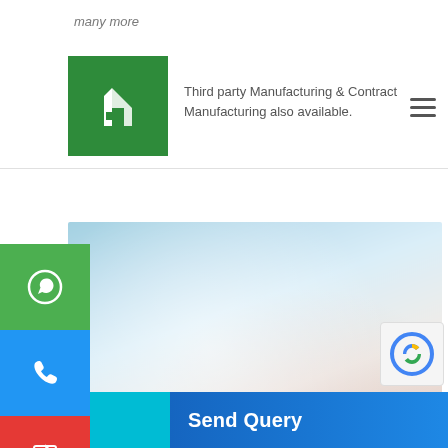many more
[Figure (logo): Green square logo with white stylized letter T/R or building icon]
Third party Manufacturing & Contract Manufacturing also available.
[Figure (photo): Blurred exterior photo of a multi-story industrial or commercial building with blue sky background]
[Figure (infographic): Left side vertical buttons: green WhatsApp icon, blue phone icon, red PDF icon]
Send Query
[Figure (other): reCAPTCHA badge partially visible in bottom right corner]